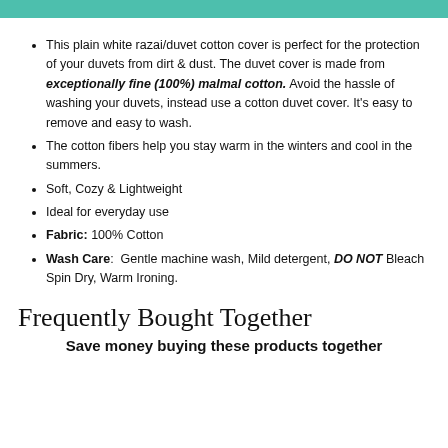This plain white razai/duvet cotton cover is perfect for the protection of your duvets from dirt & dust. The duvet cover is made from exceptionally fine (100%) malmal cotton. Avoid the hassle of washing your duvets, instead use a cotton duvet cover. It's easy to remove and easy to wash.
The cotton fibers help you stay warm in the winters and cool in the summers.
Soft, Cozy & Lightweight
Ideal for everyday use
Fabric: 100% Cotton
Wash Care: Gentle machine wash, Mild detergent, DO NOT Bleach Spin Dry, Warm Ironing.
Frequently Bought Together
Save money buying these products together